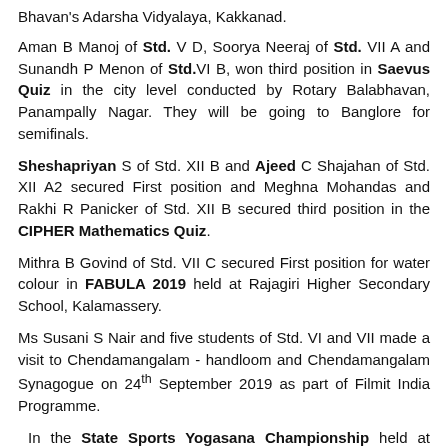Bhavan's Adarsha Vidyalaya, Kakkanad.
Aman B Manoj of Std. V D, Soorya Neeraj of Std. VII A and Sunandh P Menon of Std.VI B, won third position in Saevus Quiz in the city level conducted by Rotary Balabhavan, Panampally Nagar. They will be going to Banglore for semifinals.
Sheshapriyan S of Std. XII B and Ajeed C Shajahan of Std. XII A2 secured First position and Meghna Mohandas and Rakhi R Panicker of Std. XII B secured third position in the CIPHER Mathematics Quiz.
Mithra B Govind of Std. VII C secured First position for water colour in FABULA 2019 held at Rajagiri Higher Secondary School, Kalamassery.
Ms Susani S Nair and five students of Std. VI and VII made a visit to Chendamangalam - handloom and Chendamangalam Synagogue on 24th September 2019 as part of Filmit India Programme.
In the State Sports Yogasana Championship held at Marthoma H S, Pathanamthitta, on 27th, 28th and 29th, the following students secured prizes: